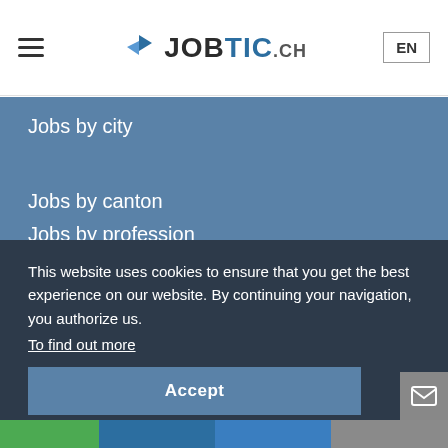JOBTIC.ch — EN
Jobs by city
Jobs by canton
Jobs by profession
This website uses cookies to ensure that you get the best experience on our website. By continuing your navigation, you authorize us.
To find out more
Accept